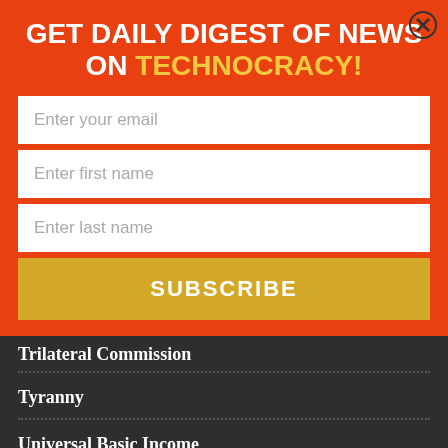GET DAILY DIGEST OF NEWS ON TECHNOCRACY!
Enter your email
Enter first name
Enter last name
SUBSCRIBE
Trilateral Commission
Tyranny
Universal Basic Income
Vaccine Passports